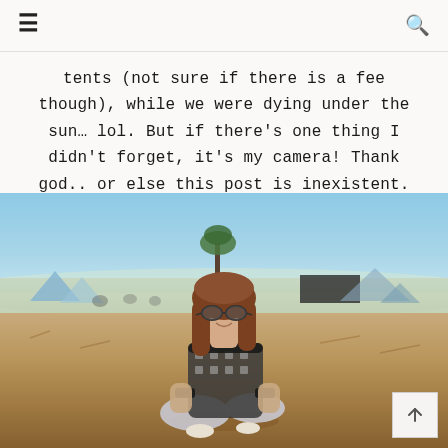≡  🔍
tents (not sure if there is a fee though), while we were dying under the sun… lol. But if there's one thing I didn't forget, it's my camera! Thank god.. or else this post is inexistent.
[Figure (photo): A young woman with brown hair and sunglasses sitting cross-legged on dry grass at an outdoor music festival, wearing a patterned sweater. Festival tents and crowd visible in the background under a clear blue sky.]
↑